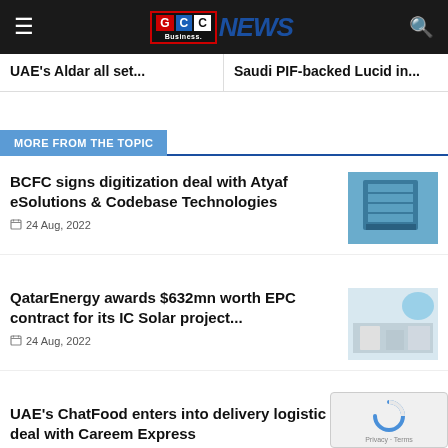GCC Business News
UAE's Aldar all set...
Saudi PIF-backed Lucid in...
MORE FROM THE TOPIC
BCFC signs digitization deal with Atyaf eSolutions & Codebase Technologies
24 Aug, 2022
QatarEnergy awards $632mn worth EPC contract for its IC Solar project...
24 Aug, 2022
UAE's ChatFood enters into delivery logistic deal with Careem Express